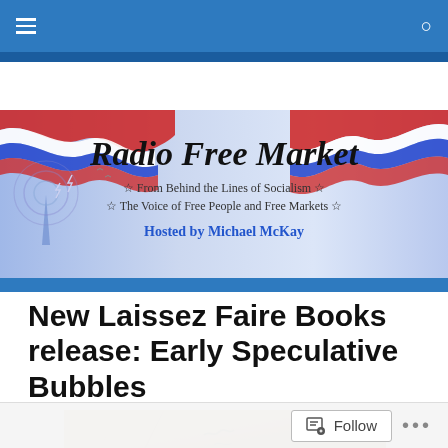Radio Free Market — navigation bar
[Figure (illustration): Radio Free Market banner with red, white and blue wave graphics, radio tower illustration, text: 'Radio Free Market', 'From Behind the Lines of Socialism', 'The Voice of Free People and Free Markets', 'Hosted by Michael McKay']
New Laissez Faire Books release: Early Speculative Bubbles
[Figure (photo): Partial view of a book cover with aged/parchment-style background]
Follow